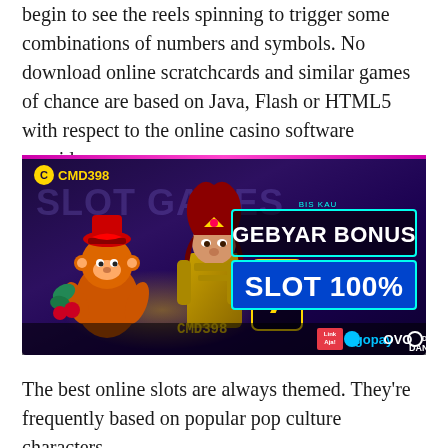begin to see the reels spinning to trigger some combinations of numbers and symbols. No download online scratchcards and similar games of chance are based on Java, Flash or HTML5 with respect to the online casino software provider.
[Figure (illustration): CMD398 online casino advertisement banner with dark purple background, slot game characters (monkey and warrior woman), 'GEBYAR BONUS' and 'SLOT 100%' promotional text in neon-bordered boxes, CMD398 logo and payment method logos (LinkAja, GoPay, OVO, DANA) at the bottom.]
The best online slots are always themed. They're frequently based on popular pop culture characters